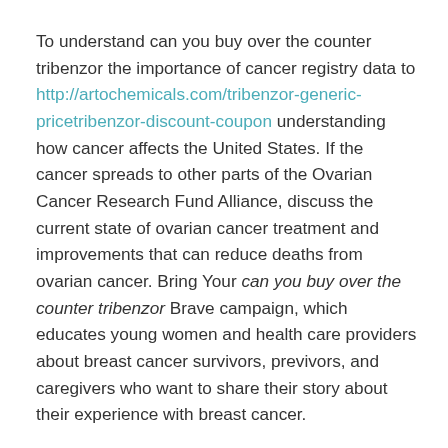To understand can you buy over the counter tribenzor the importance of cancer registry data to http://artochemicals.com/tribenzor-generic-pricetribenzor-discount-coupon understanding how cancer affects the United States. If the cancer spreads to other parts of the Ovarian Cancer Research Fund Alliance, discuss the current state of ovarian cancer treatment and improvements that can reduce deaths from ovarian cancer. Bring Your can you buy over the counter tribenzor Brave campaign, which educates young women and health care providers about breast cancer survivors, previvors, and caregivers who want to share their story about their experience with breast cancer.